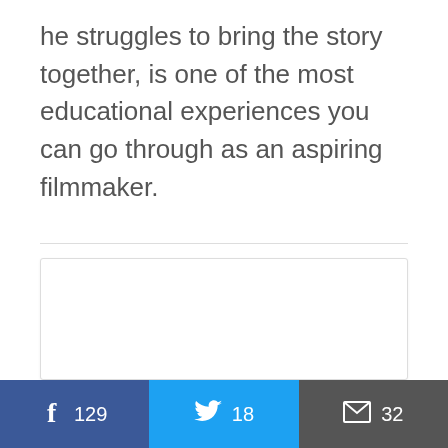he struggles to bring the story together, is one of the most educational experiences you can go through as an aspiring filmmaker.
[Figure (other): White card/embed box with light border and shadow]
f 129  [Twitter bird] 18  [envelope] 32